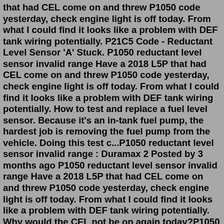that had CEL come on and threw P1050 code yesterday, check engine light is off today. From what I could find it looks like a problem with DEF tank wiring potentially. P21C5 Code - Reductant Level Sensor 'A' Stuck. P1050 reductant level sensor invalid range Have a 2018 L5P that had CEL come on and threw P1050 code yesterday, check engine light is off today. From what I could find it looks like a problem with DEF tank wiring potentially. How to test and replace a fuel level sensor. Because it's an in-tank fuel pump, the hardest job is removing the fuel pump from the vehicle. Doing this test c...P1050 reductant level sensor invalid range : Duramax 2 Posted by 3 months ago P1050 reductant level sensor invalid range Have a 2018 L5P that had CEL come on and threw P1050 code yesterday, check engine light is off today. From what I could find it looks like a problem with DEF tank wiring potentially. Why would the CEL not be on again today?P1050 reductant level sensor invalid range : Duramax 2 Posted by 3 months ago P1050 reductant level sensor invalid range Have a